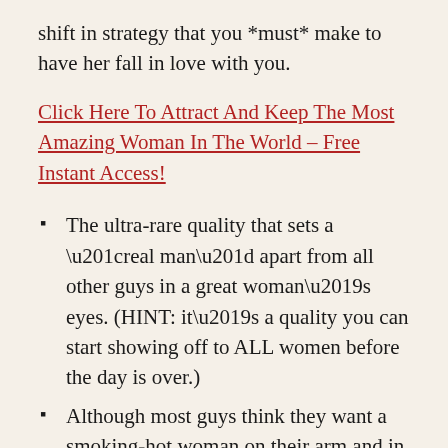shift in strategy that you *must* make to have her fall in love with you.
Click Here To Attract And Keep The Most Amazing Woman In The World – Free Instant Access!
The ultra-rare quality that sets a “real man” apart from all other guys in a great woman’s eyes. (HINT: it’s a quality you can start showing off to ALL women before the day is over.)
Although most guys think they want a smoking-hot woman on their arm and in their bed, here’s why they’re dead